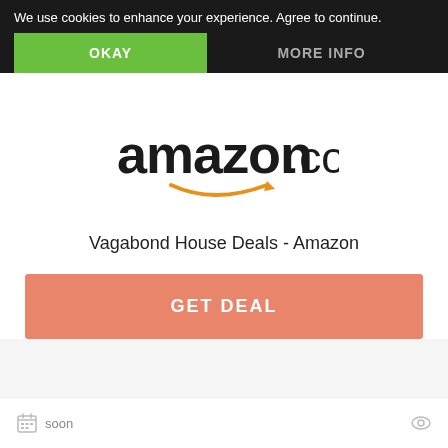We use cookies to enhance your experience. Agree to continue.
OKAY
MORE INFO
[Figure (logo): Amazon.com logo with orange arrow smile]
Vagabond House Deals - Amazon
GET DEAL
soon